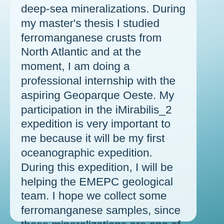deep-sea mineralizations. During my master's thesis I studied ferromanganese crusts from North Atlantic and at the moment, I am doing a professional internship with the aspiring Geoparque Oeste. My participation in the iMirabilis_2 expedition is very important to me because it will be my first oceanographic expedition. During this expedition, I will be helping the EMEPC geological team. I hope we collect some ferromanganese samples, since these mineralizations are one of my main interest of future studies.